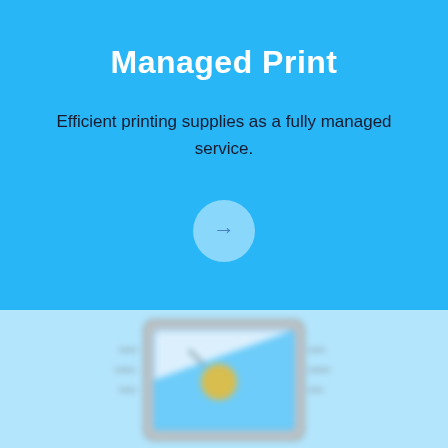Managed Print
Efficient printing supplies as a fully managed service.
[Figure (illustration): A circular button with a right-pointing arrow icon in blue on a light blue/white semi-transparent circle background]
[Figure (illustration): A blurred printer or print-related device icon on a light blue background, partially visible at the bottom of the page]